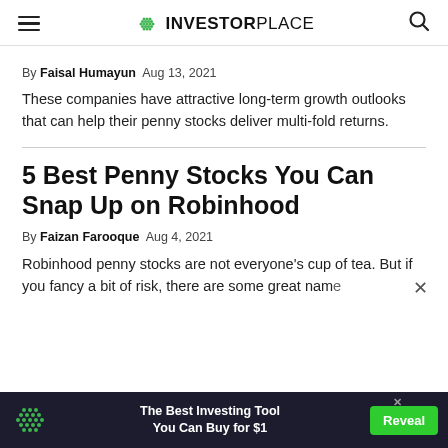INVESTORPLACE
By Faisal Humayun   Aug 13, 2021
These companies have attractive long-term growth outlooks that can help their penny stocks deliver multi-fold returns.
5 Best Penny Stocks You Can Snap Up on Robinhood
By Faizan Farooque   Aug 4, 2021
Robinhood penny stocks are not everyone's cup of tea. But if you fancy a bit of risk, there are some great name
[Figure (infographic): Advertisement banner: dark background with InvestorPlace green dot logo, text 'The Best Investing Tool You Can Buy for $1', green Reveal button, and close X icon.]